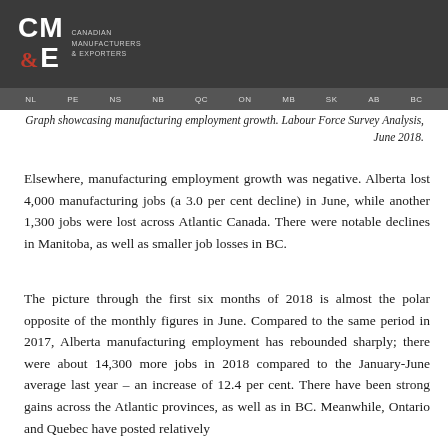CM&E — Canadian Manufacturers & Exporters
Graph showcasing manufacturing employment growth. Labour Force Survey Analysis, June 2018.
Elsewhere, manufacturing employment growth was negative. Alberta lost 4,000 manufacturing jobs (a 3.0 per cent decline) in June, while another 1,300 jobs were lost across Atlantic Canada. There were notable declines in Manitoba, as well as smaller job losses in BC.
The picture through the first six months of 2018 is almost the polar opposite of the monthly figures in June. Compared to the same period in 2017, Alberta manufacturing employment has rebounded sharply; there were about 14,300 more jobs in 2018 compared to the January-June average last year – an increase of 12.4 per cent. There have been strong gains across the Atlantic provinces, as well as in BC. Meanwhile, Ontario and Quebec have posted relatively